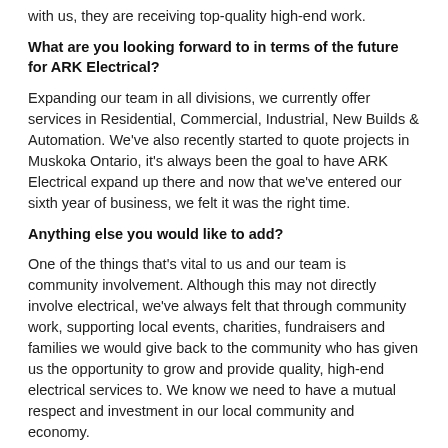with us, they are receiving top-quality high-end work.
What are you looking forward to in terms of the future for ARK Electrical?
Expanding our team in all divisions, we currently offer services in Residential, Commercial, Industrial, New Builds & Automation. We've also recently started to quote projects in Muskoka Ontario, it's always been the goal to have ARK Electrical expand up there and now that we've entered our sixth year of business, we felt it was the right time.
Anything else you would like to add?
One of the things that's vital to us and our team is community involvement. Although this may not directly involve electrical, we've always felt that through community work, supporting local events, charities, fundraisers and families we would give back to the community who has given us the opportunity to grow and provide quality, high-end electrical services to. We know we need to have a mutual respect and investment in our local community and economy.
www.arkltd.ca
[Figure (infographic): Social media icons: Facebook (dark blue rounded square with f), Twitter (teal rounded square with bird), LinkedIn (dark teal rounded square with in)]
[Figure (infographic): Follow button row with icon, Follow label, and follower count]